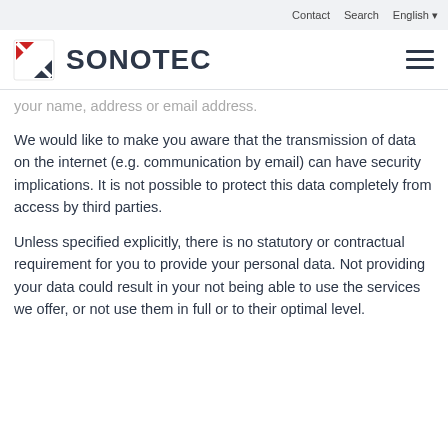Contact   Search   English
[Figure (logo): SONOTEC logo with red/dark X icon and hamburger menu]
your name, address or email address.
We would like to make you aware that the transmission of data on the internet (e.g. communication by email) can have security implications. It is not possible to protect this data completely from access by third parties.
Unless specified explicitly, there is no statutory or contractual requirement for you to provide your personal data. Not providing your data could result in your not being able to use the services we offer, or not use them in full or to their optimal level.